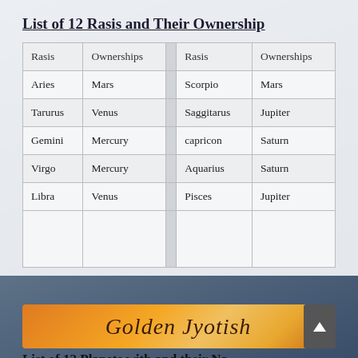List of 12 Rasis and Their Ownership
| Rasis | Ownerships |  | Rasis | Ownerships |
| --- | --- | --- | --- | --- |
| Aries | Mars |  | Scorpio | Mars |
| Tarurus | Venus |  | Saggitarus | Jupiter |
| Gemini | Mercury |  | capricon | Saturn |
| Virgo | Mercury |  | Aquarius | Saturn |
| Libra | Venus |  | Pisces | Jupiter |
|  |  |  |  |  |
[Figure (illustration): Golden Jyotish banner in orange/gold gradient with scroll-to-top button]
List of 12 Planets with and their Na...